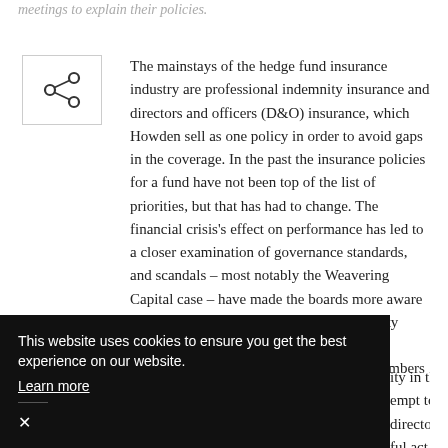meetings to explain their policies.
[Figure (other): Share icon inside a bordered square box]
The mainstays of the hedge fund insurance industry are professional indemnity insurance and directors and officers (D&O) insurance, which Howden sell as one policy in order to avoid gaps in the coverage. In the past the insurance policies for a fund have not been top of the list of priorities, but that has had to change. The financial crisis's effect on performance has led to a closer examination of governance standards, and scandals – most notably the Weavering Capital case – have made the boards more aware of the fact that directors and officers liability insurance is more than ornamental. If the coverage is not good enough, the board members themselves [...]ity in the [...] empt to claw [...] directors [...] ful act. This [...] r care in examining the fund's insurance, alongside the obvious fiduciary duty which directors
This website uses cookies to ensure you get the best experience on our website. Learn more ×